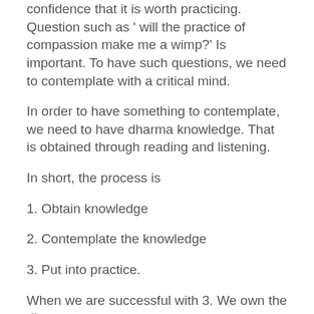confidence that it is worth practicing. Question such as ' will the practice of compassion make me a wimp?' Is important. To have such questions, we need to contemplate with a critical mind.
In order to have something to contemplate, we need to have dharma knowledge. That is obtained through reading and listening.
In short, the process is
1. Obtain knowledge
2. Contemplate the knowledge
3. Put into practice.
When we are successful with 3. We own the dharma.
Many of us are stuck with 1 and 2.
Thus we have dharma indigestion. Our mind become